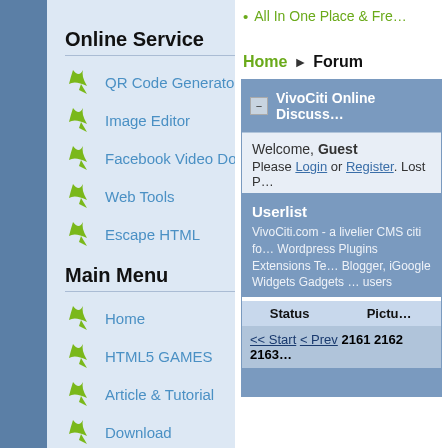All In One Place & Fre…
Home ▶ Forum
Online Service
QR Code Generator
Image Editor
Facebook Video Downloader
Web Tools
Escape HTML
Main Menu
Home
HTML5 GAMES
Article & Tutorial
Download
Themes & Templates
VivoCiti Online Discuss…
Welcome, Guest
Please Login or Register. Lost P…
Userlist
VivoCiti.com - a livelier CMS citi fo… Wordpress Plugins Extensions Te… Blogger, iGoogle Widgets Gadgets … users
| Status | Pictu… |
| --- | --- |
| << Start < Prev 2161 2162 2163… |  |